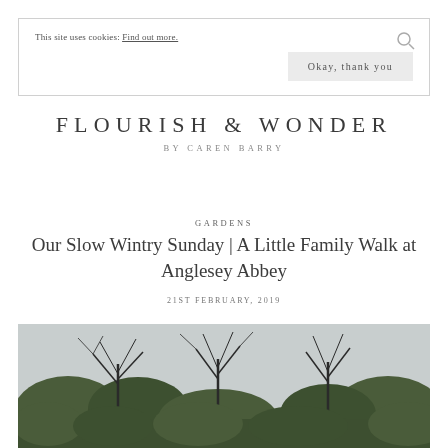This site uses cookies: Find out more.  [Okay, thank you]
FLOURISH & WONDER
BY CAREN BARRY
GARDENS
Our Slow Wintry Sunday | A Little Family Walk at Anglesey Abbey
21ST FEBRUARY, 2019
[Figure (photo): A wintry garden scene with bare deciduous trees and evergreen shrubs against a grey overcast sky, taken at Anglesey Abbey]